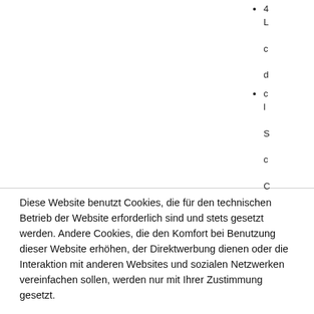4 L c d
c l S c C L
Diese Website benutzt Cookies, die für den technischen Betrieb der Website erforderlich sind und stets gesetzt werden. Andere Cookies, die den Komfort bei Benutzung dieser Website erhöhen, der Direktwerbung dienen oder die Interaktion mit anderen Websites und sozialen Netzwerken vereinfachen sollen, werden nur mit Ihrer Zustimmung gesetzt.
Cookie settings
Alle akzeptieren